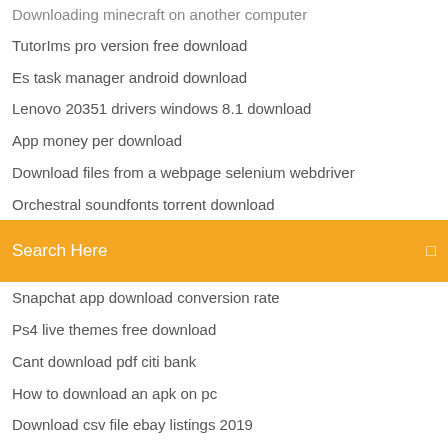Downloading minecraft on another computer
TutorIms pro version free download
Es task manager android download
Lenovo 20351 drivers windows 8.1 download
App money per download
Download files from a webpage selenium webdriver
Orchestral soundfonts torrent download
[Figure (screenshot): Orange search bar with 'Search Here' placeholder text and a small icon on the right]
Snapchat app download conversion rate
Ps4 live themes free download
Cant download pdf citi bank
How to download an apk on pc
Download csv file ebay listings 2019
Reharmonization techniques randy felts pdf download
Ledger nano s download apps
Download audio file to garageband
Spoof my text apk download
Youtube download for pc windows 10